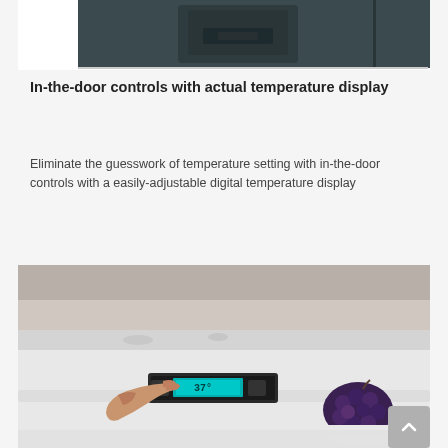[Figure (photo): Top portion of a dark-colored refrigerator door with control panel visible, showing partial cropped image at top of page]
In-the-door controls with actual temperature display
Eliminate the guesswork of temperature setting with in-the-door controls with a easily-adjustable digital temperature display
[Figure (photo): Photo of a person's hand adjusting an in-door digital temperature control panel inside a refrigerator, with grapes and food items visible in the background]